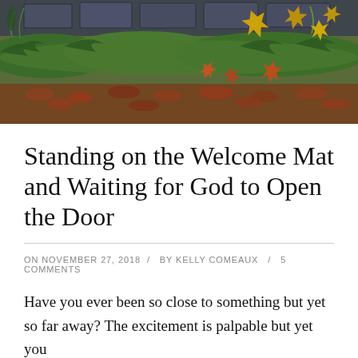[Figure (photo): Autumn scene with colorful fallen leaves (yellow maple leaves, red leaves) scattered over green moss and ferns, with slate/stone pavers visible at the top edge.]
Standing on the Welcome Mat and Waiting for God to Open the Door
ON NOVEMBER 27, 2018 / BY KELLY COMEAUX / 5 COMMENTS
Have you ever been so close to something but yet so far away? The excitement is palpable but yet you